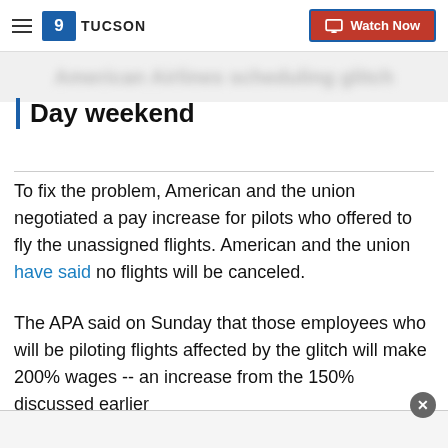KSOL 9 TUCSON | Watch Now
Day weekend
To fix the problem, American and the union negotiated a pay increase for pilots who offered to fly the unassigned flights. American and the union have said no flights will be canceled.
The APA said on Sunday that those employees who will be piloting flights affected by the glitch will make 200% wages -- an increase from the 150% discussed earlier